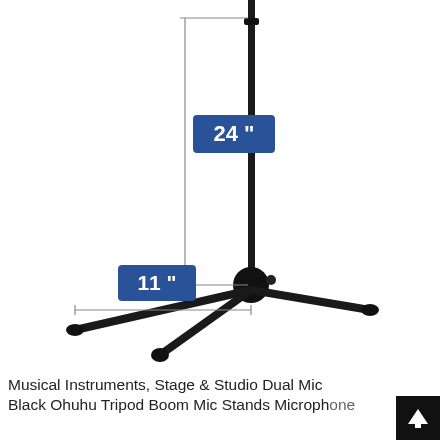[Figure (photo): A black tripod boom microphone stand photographed on white background with dimension annotations: 24 inches for the vertical pole height and 11 inches for the base width. Blue badge labels show the measurements.]
Musical Instruments, Stage & Studio Dual Mic Black Ohuhu Tripod Boom Mic Stands Microphone